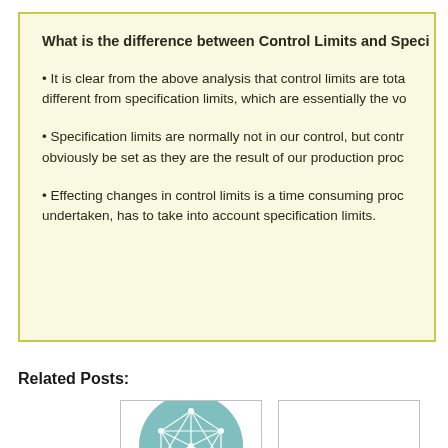What is the difference between Control Limits and Speci
It is clear from the above analysis that control limits are totally different from specification limits, which are essentially the vo
Specification limits are normally not in our control, but contr obviously be set as they are the result of our production proc
Effecting changes in control limits is a time consuming proc undertaken, has to take into account specification limits.
Related Posts:
[Figure (illustration): Circular icon with geometric network/mesh pattern on teal background]